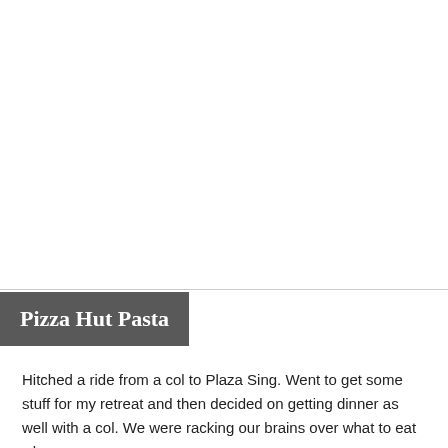[Figure (photo): White/blank image area at the top of the page above a horizontal rule]
Pizza Hut Pasta
Hitched a ride from a col to Plaza Sing. Went to get some stuff for my retreat and then decided on getting dinner as well with a col. We were racking our brains over what to eat when an